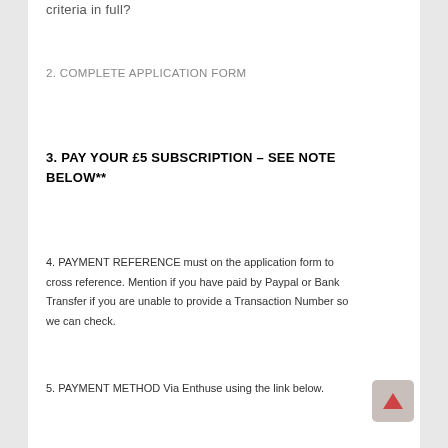criteria in full?
2. COMPLETE APPLICATION FORM
3. PAY YOUR £5 SUBSCRIPTION – SEE NOTE BELOW**
4. PAYMENT REFERENCE must on the application form to cross reference. Mention if you have paid by Paypal or Bank Transfer if you are unable to provide a Transaction Number so we can check.
5. PAYMENT METHOD Via Enthuse using the link below.